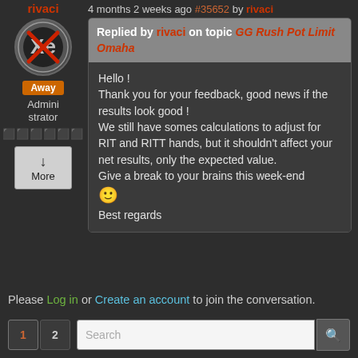4 months 2 weeks ago #35652 by rivaci
[Figure (other): User avatar circle with Xe logo and red X, with Away badge below]
Administrator
Replied by rivaci on topic GG Rush Pot Limit Omaha
Hello ! Thank you for your feedback, good news if the results look good ! We still have somes calculations to adjust for RIT and RITT hands, but it shouldn't affect your net results, only the expected value. Give a break to your brains this week-end :) Best regards
Please Log in or Create an account to join the conversation.
1  2  Search